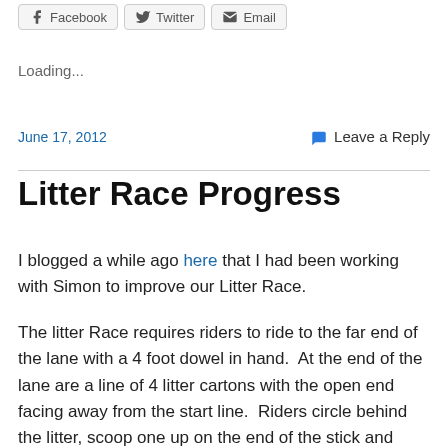Facebook  Twitter  Email
Loading...
June 17, 2012    Leave a Reply
Litter Race Progress
I blogged a while ago here that I had been working with Simon to improve our Litter Race.
The litter Race requires riders to ride to the far end of the lane with a 4 foot dowel in hand.  At the end of the lane are a line of 4 litter cartons with the open end facing away from the start line.  Riders circle behind the litter, scoop one up on the end of the stick and then ride back up the